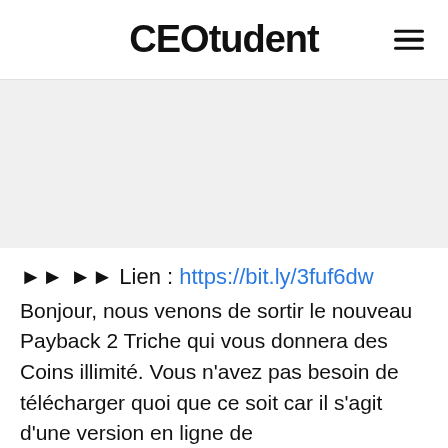CEOtudent
[Figure (other): Gray placeholder/ad banner area]
►► ►► Lien : https://bit.ly/3fuf6dw
Bonjour, nous venons de sortir le nouveau Payback 2 Triche qui vous donnera des Coins illimité. Vous n'avez pas besoin de télécharger quoi que ce soit car il s'agit d'une version en ligne de...